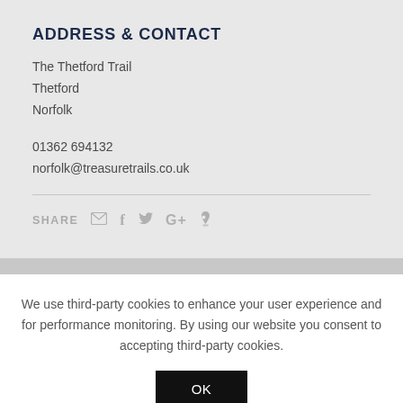ADDRESS & CONTACT
The Thetford Trail
Thetford
Norfolk
01362 694132
norfolk@treasuretrails.co.uk
SHARE
We use third-party cookies to enhance your user experience and for performance monitoring. By using our website you consent to accepting third-party cookies.
OK